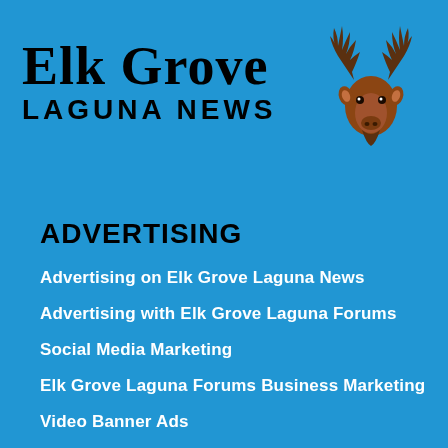[Figure (logo): Elk Grove Laguna News logo with elk/deer head illustration and text]
ADVERTISING
Advertising on Elk Grove Laguna News
Advertising with Elk Grove Laguna Forums
Social Media Marketing
Elk Grove Laguna Forums Business Marketing
Video Banner Ads
Real Estate Advertising